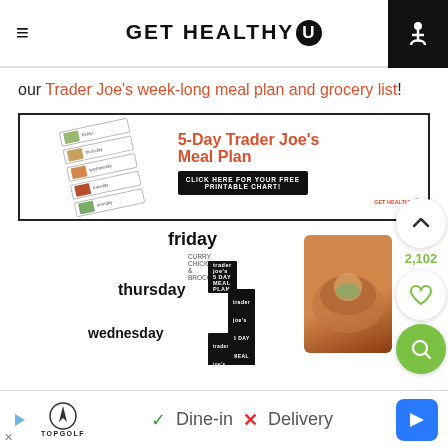GET HEALTHY U
our Trader Joe's week-long meal plan and grocery list!
[Figure (infographic): 5-Day Trader Joe's Meal Plan advertisement banner with meal plan card stack image on left and text on right: '5-Day Trader Joe's Meal Plan' with 'Click here for your free printable chart!' button]
[Figure (photo): Stack of Trader Joe's 5 Day Meal Plan cards showing friday, thursday, wednesday labels with food images]
[Figure (infographic): Bottom advertisement bar: TopGolf logo, Dine-in checkmark, Delivery X, navigation arrow]